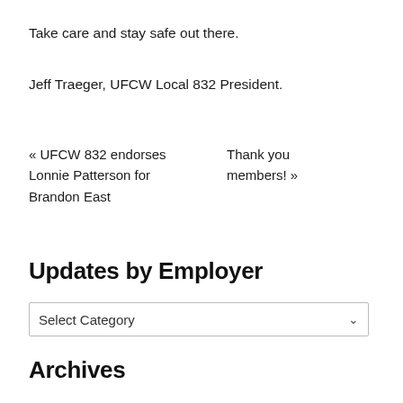Take care and stay safe out there.
Jeff Traeger, UFCW Local 832 President.
« UFCW 832 endorses Lonnie Patterson for Brandon East    Thank you members! »
Updates by Employer
Select Category
Archives